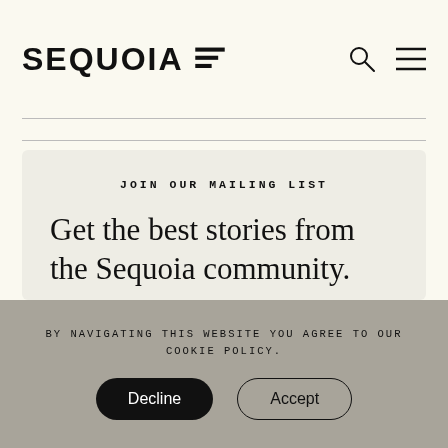SEQUOIA
JOIN OUR MAILING LIST
Get the best stories from the Sequoia community.
Email Address
BY NAVIGATING THIS WEBSITE YOU AGREE TO OUR COOKIE POLICY.
Decline
Accept